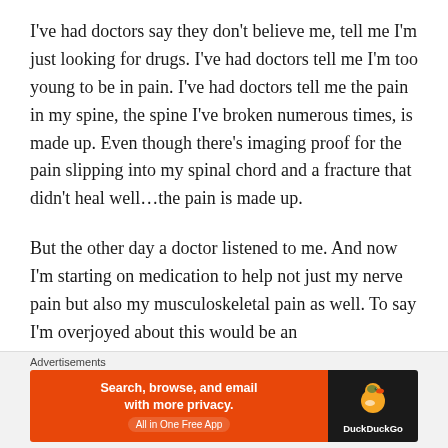I've had doctors say they don't believe me, tell me I'm just looking for drugs. I've had doctors tell me I'm too young to be in pain. I've had doctors tell me the pain in my spine, the spine I've broken numerous times, is made up. Even though there's imaging proof for the pain slipping into my spinal chord and a fracture that didn't heal well…the pain is made up.
But the other day a doctor listened to me. And now I'm starting on medication to help not just my nerve pain but also my musculoskeletal pain as well. To say I'm overjoyed about this would be an
Advertisements
[Figure (other): DuckDuckGo advertisement banner: orange left panel with text 'Search, browse, and email with more privacy. All in One Free App' and dark right panel with DuckDuckGo duck logo and brand name.]